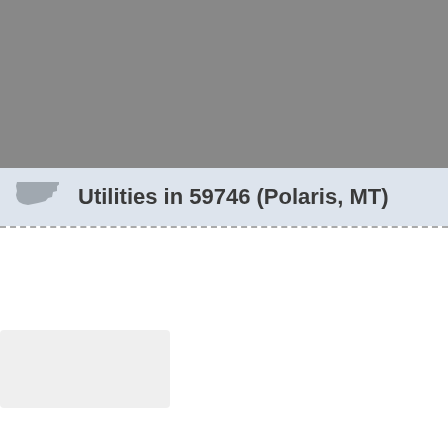[Figure (other): Gray banner area at top of page, partially cropped]
Utilities in 59746 (Polaris, MT)